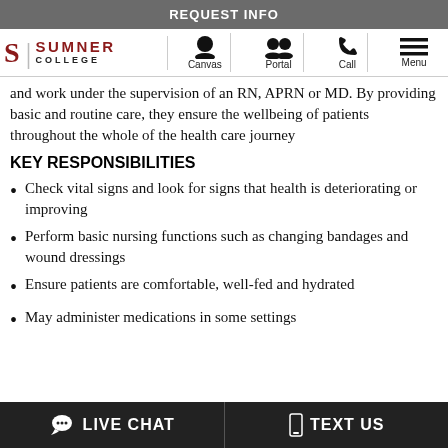REQUEST INFO
[Figure (logo): Sumner College logo with navigation icons: Canvas, Portal, Call, Menu]
and work under the supervision of an RN, APRN or MD. By providing basic and routine care, they ensure the wellbeing of patients throughout the whole of the health care journey
KEY RESPONSIBILITIES
Check vital signs and look for signs that health is deteriorating or improving
Perform basic nursing functions such as changing bandages and wound dressings
Ensure patients are comfortable, well-fed and hydrated
May administer medications in some settings
LIVE CHAT   TEXT US